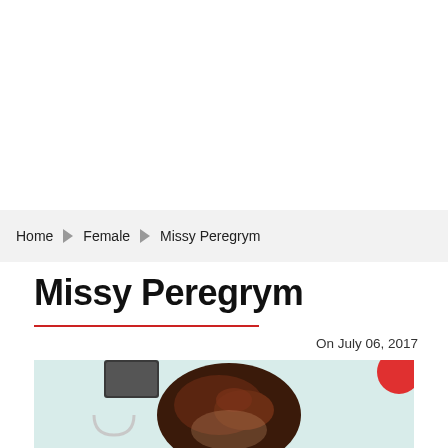Home ▶ Female ▶ Missy Peregrym
Missy Peregrym
On July 06, 2017
[Figure (photo): Photo of Missy Peregrym, showing a person with dark hair partially visible from the top of the frame, with a light teal background and a red circular element in the top right corner.]